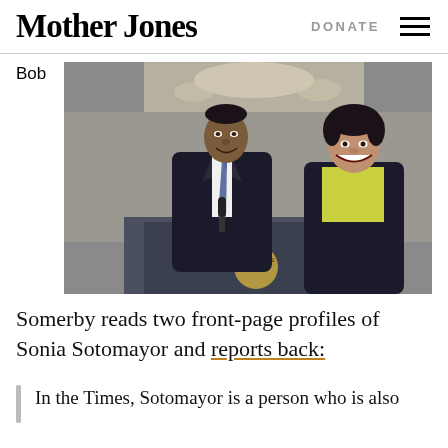Mother Jones | DONATE
Bob
[Figure (photo): Barack Obama and Sonia Sotomayor standing behind a presidential podium, both smiling, in a formal hall with chandeliers.]
Somerby reads two front-page profiles of Sonia Sotomayor and reports back:
In the Times, Sotomayor is a person who is also